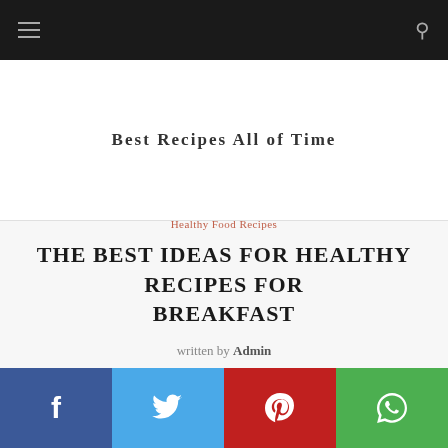≡  [search icon]
Best Recipes All of Time
Healthy Food Recipes
THE BEST IDEAS FOR HEALTHY RECIPES FOR BREAKFAST
written by Admin
November 26, 2018
[Figure (other): Social share bar with Facebook, Twitter, Pinterest, and WhatsApp buttons]